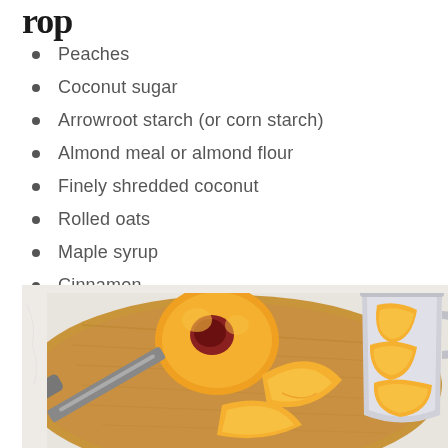…rop
Peaches
Coconut sugar
Arrowroot starch (or corn starch)
Almond meal or almond flour
Finely shredded coconut
Rolled oats
Maple syrup
Cinnamon
Sea salt
[Figure (photo): Sliced peaches on a wooden cutting board with a knife, and a metal measuring cup filled with peach slices, on a white marble surface.]